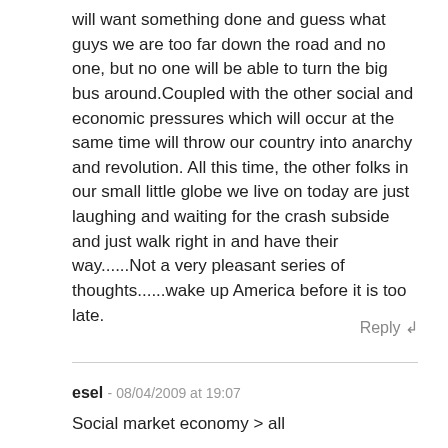will want something done and guess what guys we are too far down the road and no one, but no one will be able to turn the big bus around.Coupled with the other social and economic pressures which will occur at the same time will throw our country into anarchy and revolution. All this time, the other folks in our small little globe we live on today are just laughing and waiting for the crash subside and just walk right in and have their way......Not a very pleasant series of thoughts......wake up America before it is too late.
Reply ↲
esel - 08/04/2009 at 19:07
Social market economy > all
i'm glad to pay higher taxes for good health care(,good roads and stuff like that)
i really don't understand the American fear of socialism...